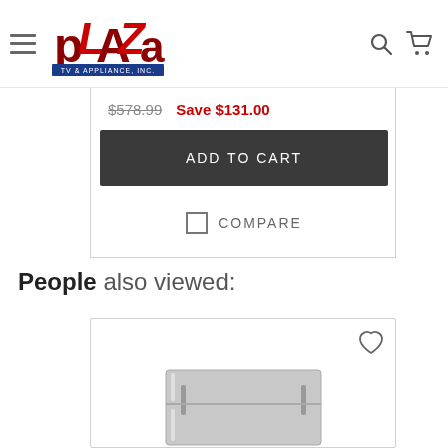[Figure (logo): Plaza TV & Appliance, Inc. logo with red 3D letters on white background]
$578.99  Save $131.00
ADD TO CART
COMPARE
People also viewed:
[Figure (photo): Stainless steel refrigerator product image inside a product card with a heart/wishlist icon]